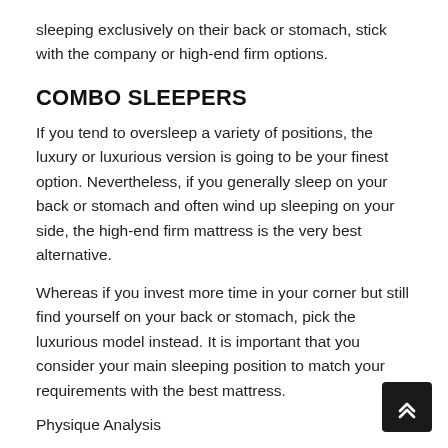sleeping exclusively on their back or stomach, stick with the company or high-end firm options.
COMBO SLEEPERS
If you tend to oversleep a variety of positions, the luxury or luxurious version is going to be your finest option. Nevertheless, if you generally sleep on your back or stomach and often wind up sleeping on your side, the high-end firm mattress is the very best alternative.
Whereas if you invest more time in your corner but still find yourself on your back or stomach, pick the luxurious model instead. It is important that you consider your main sleeping position to match your requirements with the best mattress.
Physique Analysis